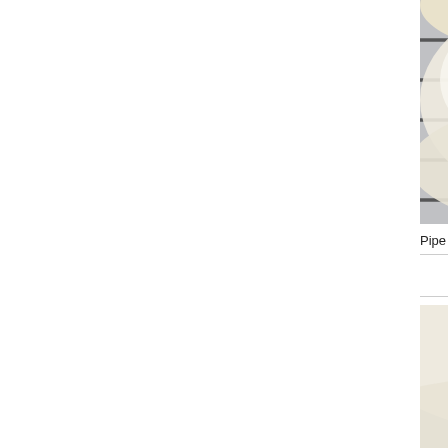[Figure (photo): Close-up photo of cream puffs on a wire cooling rack, showing white powdered sugar coating and cream filling, partially cropped on right side of page]
Pipe a generous dollop of cream on each shell
[Figure (photo): Close-up photo of a cream puff broken open to show filling, with candied walnuts visible, on light grey background. A watermark logo reads 'Bake for Happy Kids' with a gingerbread man icon.]